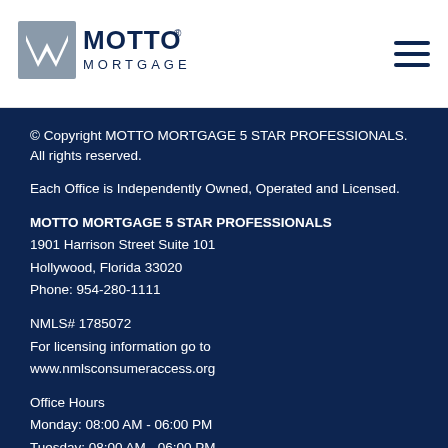[Figure (logo): Motto Mortgage logo with stylized M icon and wordmark]
© Copyright MOTTO MORTGAGE 5 STAR PROFESSIONALS. All rights reserved.
Each Office is Independently Owned, Operated and Licensed.
MOTTO MORTGAGE 5 STAR PROFESSIONALS
1901 Harrison Street Suite 101
Hollywood, Florida 33020
Phone: 954-280-1111
NMLS# 1785072
For licensing information go to
www.nmlsconsumeraccess.org
Office Hours
Monday: 08:00 AM - 06:00 PM
Tuesday: 08:00 AM - 06:00 PM